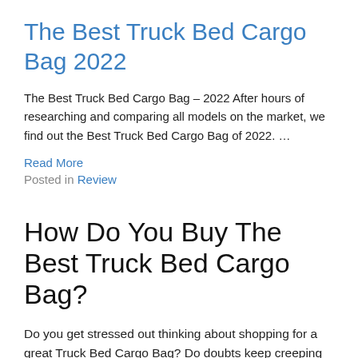The Best Truck Bed Cargo Bag 2022
The Best Truck Bed Cargo Bag – 2022 After hours of researching and comparing all models on the market, we find out the Best Truck Bed Cargo Bag of 2022. …
Read More
Posted in Review
How Do You Buy The Best Truck Bed Cargo Bag?
Do you get stressed out thinking about shopping for a great Truck Bed Cargo Bag? Do doubts keep creeping into your